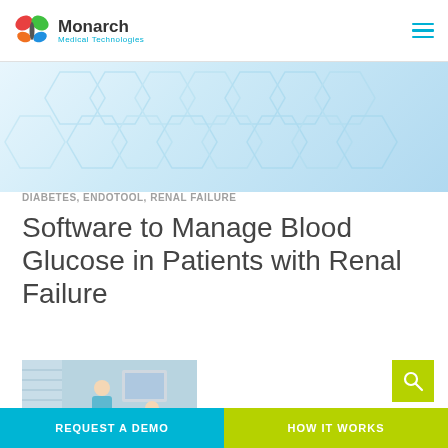Monarch Medical Technologies
[Figure (illustration): Light blue hexagonal pattern hero banner background]
DIABETES, ENDOTOOL, RENAL FAILURE
Software to Manage Blood Glucose in Patients with Renal Failure
[Figure (photo): Medical professional with patient in clinical setting]
REQUEST A DEMO
HOW IT WORKS